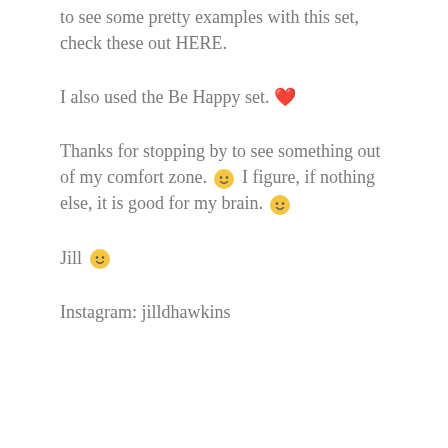to see some pretty examples with this set, check these out HERE.
I also used the Be Happy set. ❤
Thanks for stopping by to see something out of my comfort zone. 🙂 I figure, if nothing else, it is good for my brain. 🙂
Jill 🙂
Instagram: jilldhawkins